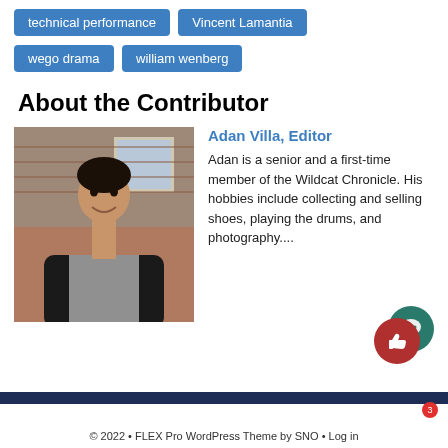technical performance
Vincent Lamantia
wego drama
william wenberg
About the Contributor
[Figure (photo): Photo of Adan Villa, a young man smiling, wearing a grey hoodie and black jacket, standing in front of a brick building]
Adan Villa, Editor
Adan is a senior and a first-time member of the Wildcat Chronicle. His hobbies include collecting and selling shoes, playing the drums, and photography....
© 2022 • FLEX Pro WordPress Theme by SNO • Log in